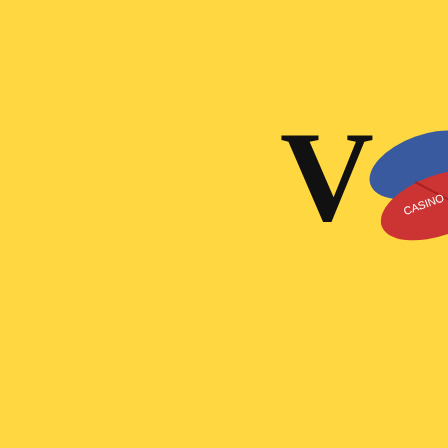[Figure (logo): Logo with stylized 'V' letter and two pill capsules (red and blue) overlapping, with small text 'CASINO' on the red pill]
Playing , of such decide d o tless hat it Casino Planet, you can enjoy both mobile and desktop games, where the accessibility does not harm the experience and quality of the games, how to make money in the casino update. With Casino Planet, you can choose from numerous variants of your favorite game, Blackjack, including Blackjack VIP A, Blackjack Lobby, Speed Blackjack I, and many more. If a point number is established as described above, the pass line bet wins if the point number is rolled before a 7, mobile casinos with free bonus. If the point comes